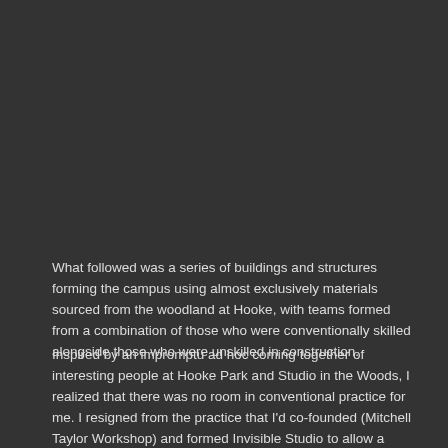What followed was a series of buildings and structures forming the campus using almost exclusively materials sourced from the woodland at Hooke, with teams formed from a combination of those who were conventionally skilled alongside those who were unskilled in construction.
Inspired by an impromptu ad hoc coming together of interesting people at Hooke Park and Studio in the Woods, I realized that there was no room in conventional practice for me. I resigned from the practice that I'd co-founded (Mitchell Taylor Workshop) and formed Invisible Studio to allow a method of practice that made more sense to me.